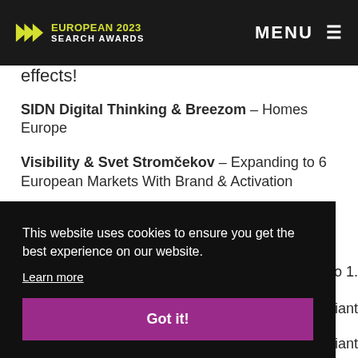European 2023 Search Awards — MENU
effects!
SIDN Digital Thinking & Breezom – Homes Europe
Visibility & Svet Stromčekov – Expanding to 6 European Markets With Brand & Activation
This website uses cookies to ensure you get the best experience on our website. Learn more
Got it!